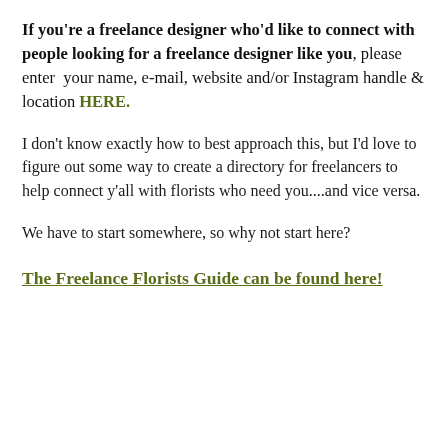If you're a freelance designer who'd like to connect with people looking for a freelance designer like you, please enter your name, e-mail, website and/or Instagram handle & location HERE.
I don't know exactly how to best approach this, but I'd love to figure out some way to create a directory for freelancers to help connect y'all with florists who need you....and vice versa.
We have to start somewhere, so why not start here?
The Freelance Florists Guide can be found here!